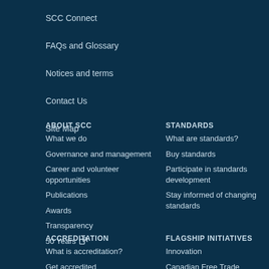SCC Connect
FAQs and Glossary
Notices and terms
Contact Us
Site Map
ABOUT SCC
What we do
Governance and management
Career and volunteer opportunities
Publications
Awards
Transparency
50 Years
STANDARDS
What are standards?
Buy standards
Participate in standards development
Stay informed of changing standards
ACCREDITATION
What is accreditation?
Get accredited
Find an accredited body
FLAGSHIP INITIATIVES
Innovation
Canadian Free Trade
International Trade